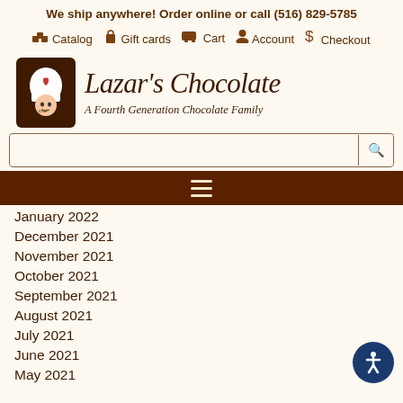We ship anywhere! Order online or call (516) 829-5785
Catalog  Gift cards  Cart  Account  Checkout
[Figure (logo): Lazar's Chocolate logo with chef figure in brown box, brand name 'Lazar's Chocolate' in italic serif, tagline 'A Fourth Generation Chocolate Family']
Search bar
Navigation hamburger menu
January 2022
December 2021
November 2021
October 2021
September 2021
August 2021
July 2021
June 2021
May 2021